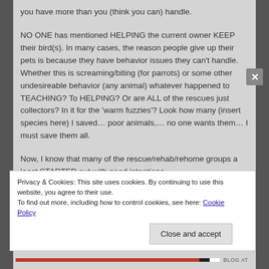you have more than you (think you can) handle.
NO ONE has mentioned HELPING the current owner KEEP their bird(s). In many cases, the reason people give up their pets is because they have behavior issues they can't handle. Whether this is screaming/biting (for parrots) or some other undesireable behavior (any animal) whatever happened to TEACHING? To HELPING? Or are ALL of the rescues just collectors? In it for the 'warm fuzzies'? Look how many (insert species here) I saved… poor animals,… no one wants them… I must save them all.
Now, I know that many of the rescue/rehab/rehome groups a least STARTED out with good intentions.
Privacy & Cookies: This site uses cookies. By continuing to use this website, you agree to their use.
To find out more, including how to control cookies, see here: Cookie Policy